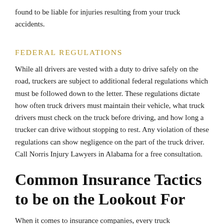found to be liable for injuries resulting from your truck accidents.
FEDERAL REGULATIONS
While all drivers are vested with a duty to drive safely on the road, truckers are subject to additional federal regulations which must be followed down to the letter. These regulations dictate how often truck drivers must maintain their vehicle, what truck drivers must check on the truck before driving, and how long a trucker can drive without stopping to rest. Any violation of these regulations can show negligence on the part of the truck driver. Call Norris Injury Lawyers in Alabama for a free consultation.
Common Insurance Tactics to be on the Lookout For
When it comes to insurance companies, every truck